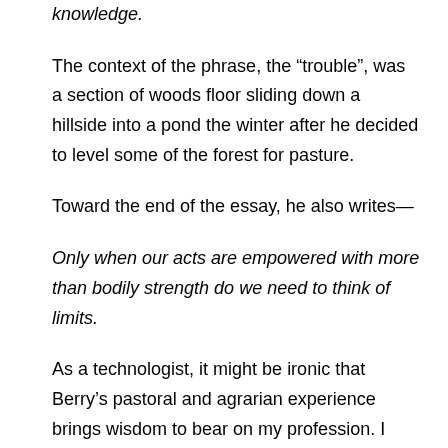knowledge.
The context of the phrase, the “trouble”, was a section of woods floor sliding down a hillside into a pond the winter after he decided to level some of the forest for pasture.
Toward the end of the essay, he also writes—
Only when our acts are empowered with more than bodily strength do we need to think of limits.
As a technologist, it might be ironic that Berry’s pastoral and agrarian experience brings wisdom to bear on my profession. I wonder how many software projects go awry because we fail to understand the purpose and proper implementation of the wide array of tools at our disposal, or the business domain of the problem our programs try to